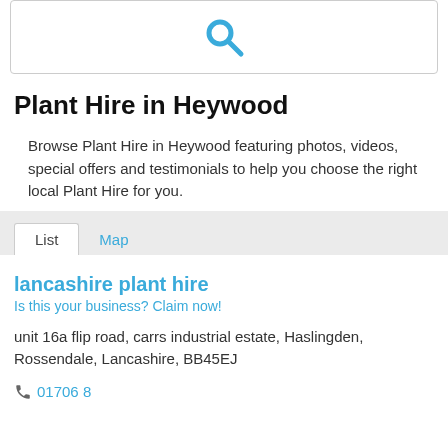[Figure (other): Search icon (magnifying glass) in blue inside a white box with border]
Plant Hire in Heywood
Browse Plant Hire in Heywood featuring photos, videos, special offers and testimonials to help you choose the right local Plant Hire for you.
List  Map
lancashire plant hire
Is this your business? Claim now!
unit 16a flip road, carrs industrial estate, Haslingden, Rossendale, Lancashire, BB45EJ
01706 8